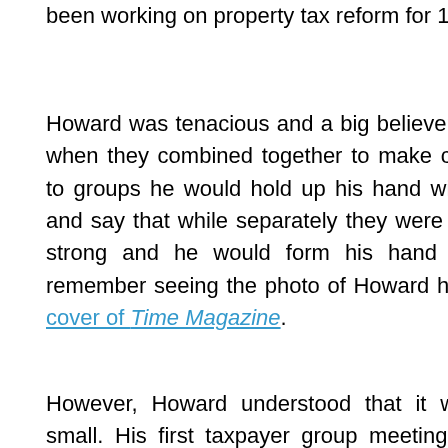been working on property tax reform for 16 years.
Howard was tenacious and a big believer in the power of people when they combined together to make change. When speaking to groups he would hold up his hand with his fingers extended and say that while separately they were weak, united they were strong and he would form his hand into a fist. Some will remember seeing the photo of Howard holding up his fist on the cover of Time Magazine.
However, Howard understood that it was necessary to start small. His first taxpayer group meeting was attended by only twenty ordinary citizens — no